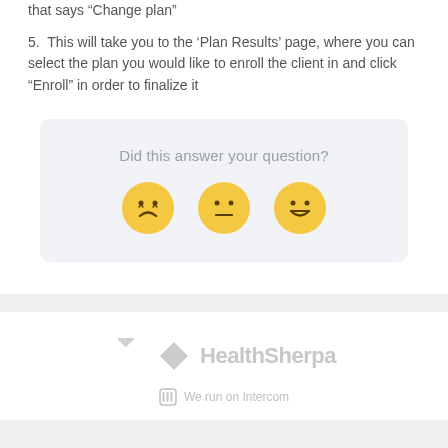that says “Change plan”
5. This will take you to the ‘Plan Results’ page, where you can select the plan you would like to enroll the client in and click “Enroll” in order to finalize it
[Figure (other): Feedback widget with question 'Did this answer your question?' and three emoji faces: sad, neutral, and happy]
[Figure (logo): HealthSherpa logo with checkmark icon and text]
We run on Intercom